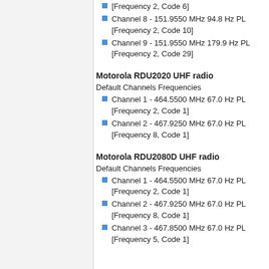[Frequency 2, Code 6]
Channel 8 - 151.9550 MHz 94.8 Hz PL [Frequency 2, Code 10]
Channel 9 - 151.9550 MHz 179.9 Hz PL [Frequency 2, Code 29]
Motorola RDU2020 UHF radio
Default Channels Frequencies
Channel 1 - 464.5500 MHz 67.0 Hz PL [Frequency 2, Code 1]
Channel 2 - 467.9250 MHz 67.0 Hz PL [Frequency 8, Code 1]
Motorola RDU2080D UHF radio
Default Channels Frequencies
Channel 1 - 464.5500 MHz 67.0 Hz PL [Frequency 2, Code 1]
Channel 2 - 467.9250 MHz 67.0 Hz PL [Frequency 8, Code 1]
Channel 3 - 467.8500 MHz 67.0 Hz PL [Frequency 5, Code 1]